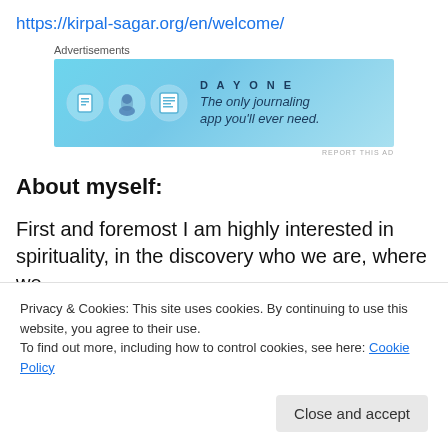https://kirpal-sagar.org/en/welcome/
[Figure (other): Advertisement banner for DayOne journaling app with blue background, app icons, and text 'The only journaling app you'll ever need.']
About myself:
First and foremost I am highly interested in spirituality, in the discovery who we are, where we
Privacy & Cookies: This site uses cookies. By continuing to use this website, you agree to their use. To find out more, including how to control cookies, see here: Cookie Policy
Close and accept